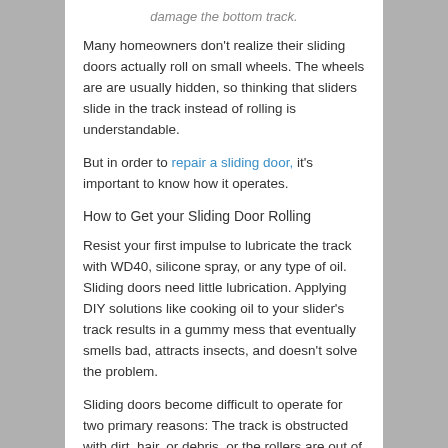damage the bottom track.
Many homeowners don't realize their sliding doors actually roll on small wheels. The wheels are are usually hidden, so thinking that sliders slide in the track instead of rolling is understandable.
But in order to repair a sliding door, it's important to know how it operates.
How to Get your Sliding Door Rolling
Resist your first impulse to lubricate the track with WD40, silicone spray, or any type of oil. Sliding doors need little lubrication. Applying DIY solutions like cooking oil to your slider's track results in a gummy mess that eventually smells bad, attracts insects, and doesn't solve the problem.
Sliding doors become difficult to operate for two primary reasons: The track is obstructed with dirt, hair, or debris, or the rollers are out of alignment or broken.